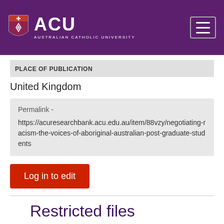[Figure (logo): ACU Australian Catholic University logo with shield icon on purple header background and hamburger menu icon]
PLACE OF PUBLICATION
United Kingdom
Permalink - https://acuresearchbank.acu.edu.au/item/88vzy/negotiating-racism-the-voices-of-aboriginal-australian-post-graduate-students
Log in to edit
Restricted files